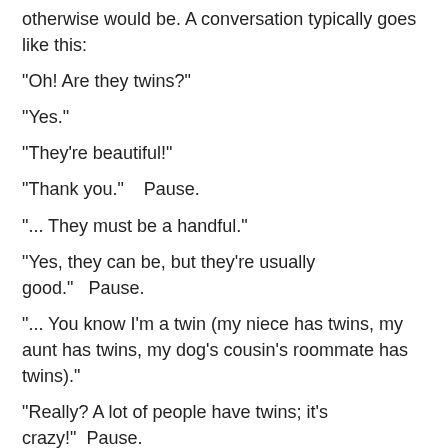otherwise would be.  A conversation typically goes like this:
"Oh!  Are they twins?"
"Yes."
"They're beautiful!"
"Thank you."    Pause.
"... They must be a handful."
"Yes, they can be, but they're usually good."   Pause.
"... You know I'm a twin (my niece has twins, my aunt has twins, my dog's cousin's roommate has twins)."
"Really?  A lot of people have twins; it's crazy!"  Pause.
"... Are there any other twins in your family."
"Nono.  Those are the first ones."